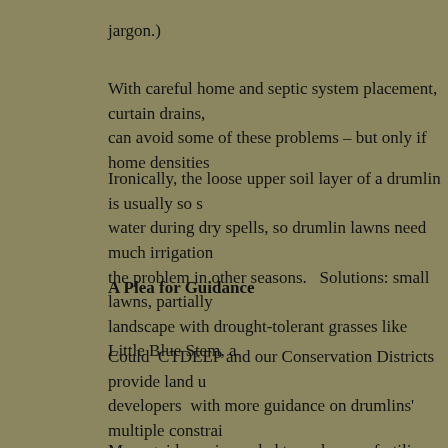jargon.)
With careful home and septic system placement, curtain drains, can avoid some of these problems – but only if home densities
Ironically, the loose upper soil layer of a drumlin is usually so s water during dry spells, so drumlin lawns need much irrigation the problem in other seasons.   Solutions: small lawns, partially landscape with drought-tolerant grasses like Little Blue Stem, a
A Plea for Guidance
Could  CTDEEP and our Conservation Districts provide land u developers  with more guidance on drumlins'  multiple constrai Survey or WSS) available from the Natural Resource Conserva the approximate locations of seasonally wet, hardpan soil units. Wethersfield soil series.
More guidance is needed to make sure fertilizers and pesticides